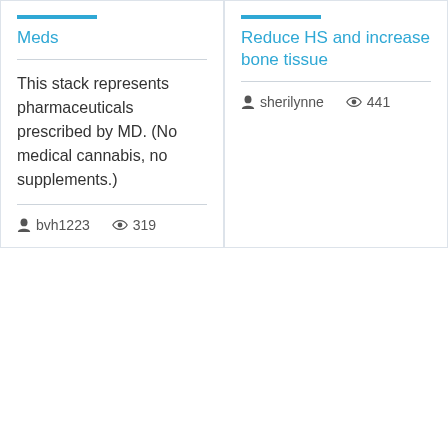Meds
This stack represents pharmaceuticals prescribed by MD. (No medical cannabis, no supplements.)
bvh1223   319
Reduce HS and increase bone tissue
sherilynne   441